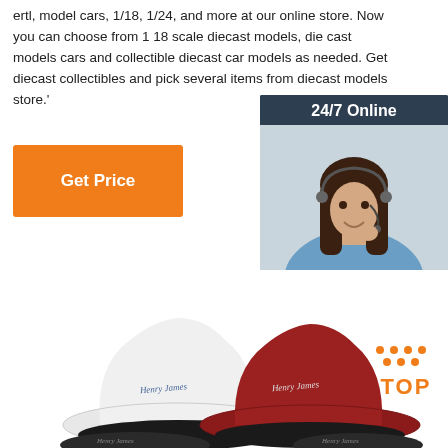ertl, model cars, 1/18, 1/24, and more at our online store. Now you can choose from 1 18 scale diecast models, die cast models cars and collectible diecast car models as needed. Get diecast collectibles and pick several items from diecast models store.'
[Figure (other): Orange 'Get Price' button]
[Figure (other): 24/7 Online chat widget with a photo of a female customer service representative wearing a headset, dark background with orange QUOTATION button and italic text 'Click here for free chat !']
[Figure (photo): Two bucket hats — one white/light grey and one dark red/burgundy — displayed together with small script logo. Orange and dark 'TOP' badge with dot pattern in the bottom right.]